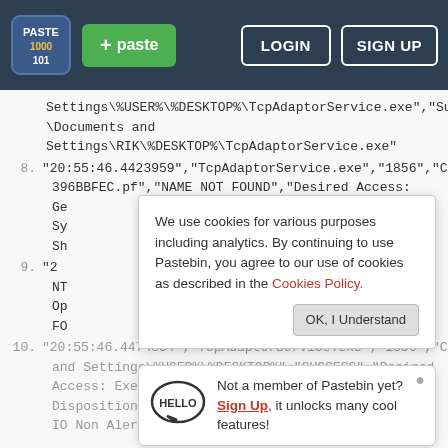Pastebin navigation bar with logo, + paste button, LOGIN and SIGN UP buttons
Settings\%USER%\%DESKTOP%\TcpAdaptorService.exe","Su\Documents and Settings\RIK\%DESKTOP%\TcpAdaptorService.exe"
8. "20:55:46.4423959","TcpAdaptorService.exe","1856","C 396BBFEC.pf","NAME NOT FOUND","Desired Access: Ge Sy Sh
9. "2 NT Op FO
Cookie banner: We use cookies for various purposes including analytics. By continuing to use Pastebin, you agree to our use of cookies as described in the Cookies Policy. OK, I Understand
Sign up popup: Not a member of Pastebin yet? Sign Up, it unlocks many cool features!
10. "20:55:46.4474854","TcpAdaptorService.exe","1856","C and Settings\%USER%\%DESKTOP%","SUCCESS","Desired Access: Execute/Traverse, Synchronize, Disposition: Open, Options: Directory, Synch... IO Non Alert, Attributes: n/o, ShareMode: Read...